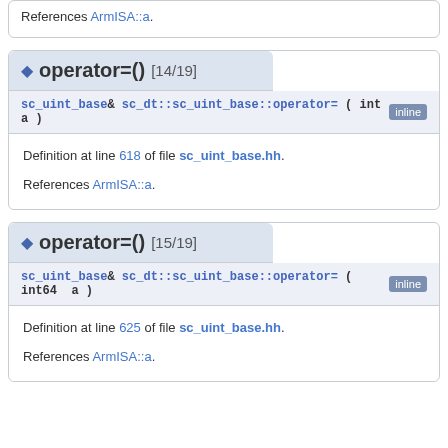References ArmISA::a.
operator=() [14/19]
sc_uint_base& sc_dt::sc_uint_base::operator= ( int  a ) inline
Definition at line 618 of file sc_uint_base.hh.
References ArmISA::a.
operator=() [15/19]
sc_uint_base& sc_dt::sc_uint_base::operator= ( int64  a ) inline
Definition at line 625 of file sc_uint_base.hh.
References ArmISA::a.